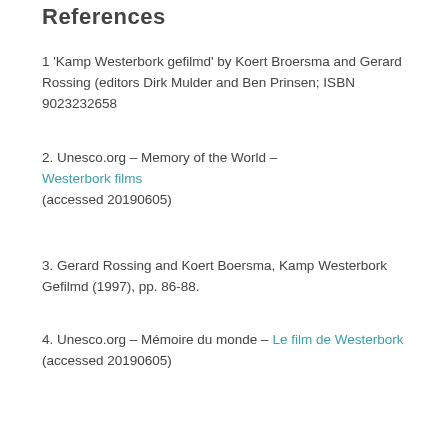References
1 'Kamp Westerbork gefilmd' by Koert Broersma and Gerard Rossing (editors Dirk Mulder and Ben Prinsen; ISBN 9023232658
2. Unesco.org – Memory of the World – Westerbork films (accessed 20190605)
3. Gerard Rossing and Koert Boersma, Kamp Westerbork Gefilmd (1997), pp. 86-88.
4. Unesco.org – Mémoire du monde – Le film de Westerbork (accessed 20190605)